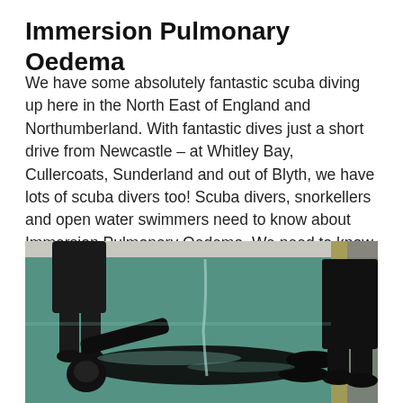Immersion Pulmonary Oedema
We have some absolutely fantastic scuba diving up here in the North East of England and Northumberland. With fantastic dives just a short drive from Newcastle – at Whitley Bay, Cullercoats, Sunderland and out of Blyth, we have lots of scuba divers too! Scuba divers, snorkellers and open water swimmers need to know about Immersion Pulmonary Oedema. We need to know some scuba diving first aid too…
[Figure (photo): A scuba diver in a black drysuit floating face-down in a swimming pool with green-tinted water, being assisted by a person in dark clothing standing in the water, with another person in black clothing and shoes visible at the pool's edge on the right.]